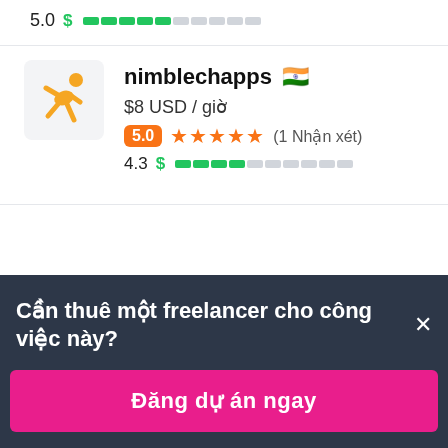5.0  $ ████░░░░░░
[Figure (illustration): Freelancer running figure icon in yellow/orange on light gray rounded square background]
nimblechapps 🇮🇳
$8 USD / giờ
5.0 ★★★★★ (1 Nhận xét)
4.3  $ ████░░░░░░
Cần thuê một freelancer cho công việc này? ×
Đăng dự án ngay